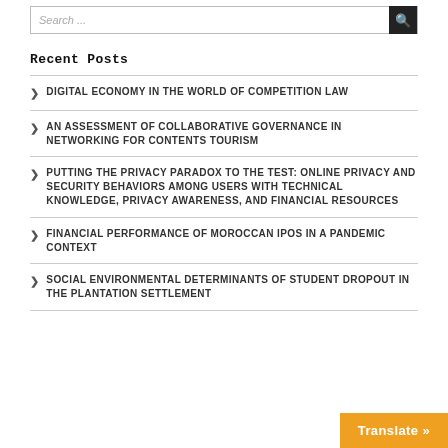Search ...
Recent Posts
DIGITAL ECONOMY IN THE WORLD OF COMPETITION LAW
AN ASSESSMENT OF COLLABORATIVE GOVERNANCE IN NETWORKING FOR CONTENTS TOURISM
PUTTING THE PRIVACY PARADOX TO THE TEST: ONLINE PRIVACY AND SECURITY BEHAVIORS AMONG USERS WITH TECHNICAL KNOWLEDGE, PRIVACY AWARENESS, AND FINANCIAL RESOURCES
FINANCIAL PERFORMANCE OF MOROCCAN IPOs IN A PANDEMIC CONTEXT
SOCIAL ENVIRONMENTAL DETERMINANTS OF STUDENT DROPOUT IN THE PLANTATION SETTLEMENT
Translate »